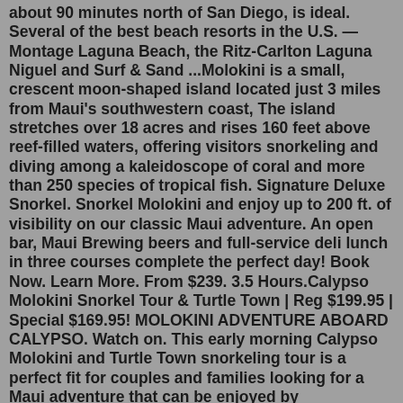about 90 minutes north of San Diego, is ideal. Several of the best beach resorts in the U.S. — Montage Laguna Beach, the Ritz-Carlton Laguna Niguel and Surf & Sand ...Molokini is a small, crescent moon-shaped island located just 3 miles from Maui's southwestern coast, The island stretches over 18 acres and rises 160 feet above reef-filled waters, offering visitors snorkeling and diving among a kaleidoscope of coral and more than 250 species of tropical fish. Signature Deluxe Snorkel. Snorkel Molokini and enjoy up to 200 ft. of visibility on our classic Maui adventure. An open bar, Maui Brewing beers and full-service deli lunch in three courses complete the perfect day! Book Now. Learn More. From $239. 3.5 Hours.Calypso Molokini Snorkel Tour & Turtle Town | Reg $199.95 | Special $169.95! MOLOKINI ADVENTURE ABOARD CALYPSO. Watch on. This early morning Calypso Molokini and Turtle Town snorkeling tour is a perfect fit for couples and families looking for a Maui adventure that can be enjoyed by